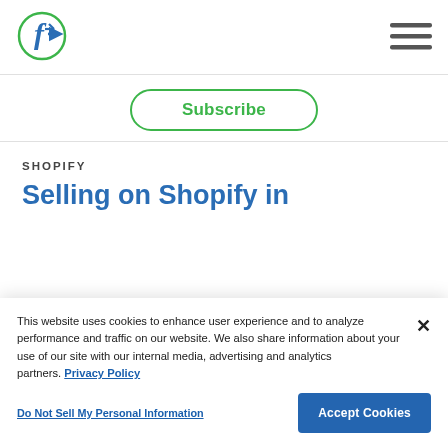[Figure (logo): Circular green-outlined logo with blue stylized 'f' arrow letter inside]
[Figure (other): Hamburger menu icon with three horizontal dark gray lines]
Subscribe
SHOPIFY
Selling on Shopify in
This website uses cookies to enhance user experience and to analyze performance and traffic on our website. We also share information about your use of our site with our internal media, advertising and analytics partners. Privacy Policy
Do Not Sell My Personal Information
Accept Cookies